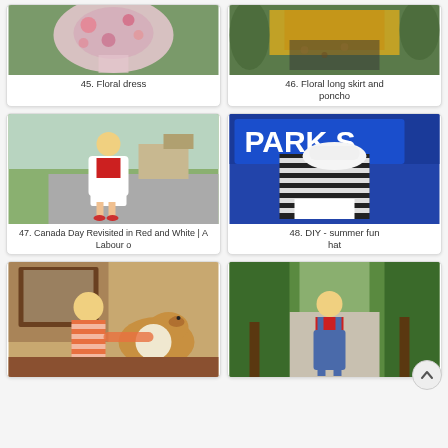[Figure (photo): Floral dress photo, item 45]
45. Floral dress
[Figure (photo): Floral long skirt and poncho photo, item 46]
46. Floral long skirt and poncho
[Figure (photo): Woman in red top and white skirt outdoors, item 47]
47. Canada Day Revisited in Red and White | A Labour o
[Figure (photo): Person in black and white striped outfit with hat near Park S sign, item 48]
48. DIY - summer fun hat
[Figure (photo): Woman in orange striped dress sitting with a collie dog indoors, item 49]
[Figure (photo): Woman in red top and denim overalls on a tree-lined street, item 50]